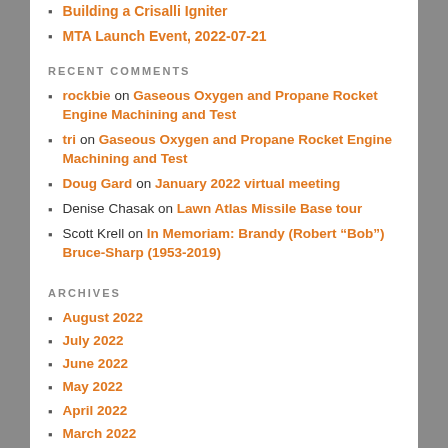Building a Crisalli Igniter
MTA Launch Event, 2022-07-21
RECENT COMMENTS
rockbie on Gaseous Oxygen and Propane Rocket Engine Machining and Test
tri on Gaseous Oxygen and Propane Rocket Engine Machining and Test
Doug Gard on January 2022 virtual meeting
Denise Chasak on Lawn Atlas Missile Base tour
Scott Krell on In Memoriam: Brandy (Robert “Bob”) Bruce-Sharp (1953-2019)
ARCHIVES
August 2022
July 2022
June 2022
May 2022
April 2022
March 2022